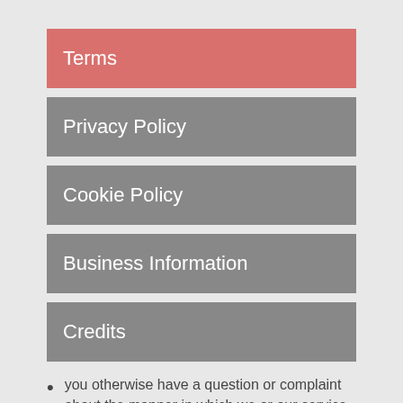Terms
Privacy Policy
Cookie Policy
Business Information
Credits
you otherwise have a question or complaint about the manner in which we or our service providers treat your Personal Data.
You can reach the individual in charge of our privacy policy by emailing aprilcottage39@gmail.com or in writing below: